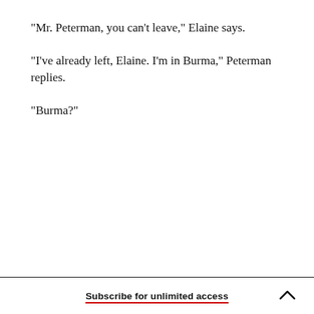"Mr. Peterman, you can't leave," Elaine says.
"I've already left, Elaine. I'm in Burma," Peterman replies.
"Burma?"
Subscribe for unlimited access